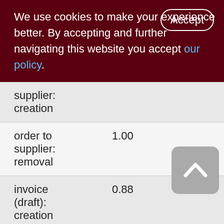We use cookies to make your experience better. By accepting and further navigating this website you accept our policy.
| Action | Value |  |
| --- | --- | --- |
| supplier: creation |  |  |
| order to supplier: removal | 1.00 |  |
| invoice (draft): creation | 0.88 |  |
| invoice (draft): removal | 0.23 |  |
| invoice | 0.06 | 445 |